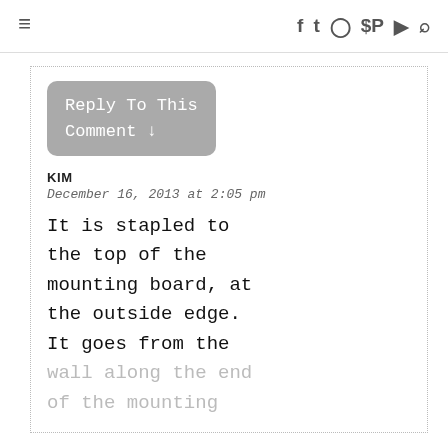≡  f  t  ☐  ℗  ▶  🔍
[Figure (screenshot): Reply To This Comment button (grey rounded rectangle with monospace white text)]
KIM
December 16, 2013 at 2:05 pm
It is stapled to the top of the mounting board, at the outside edge. It goes from the wall along the end of the mounting